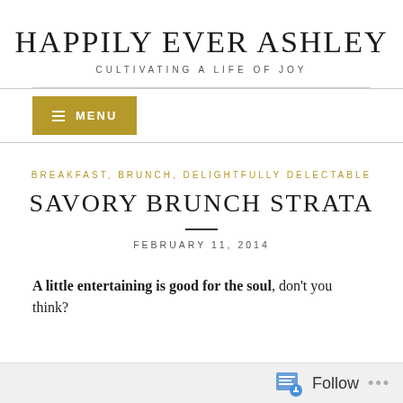HAPPILY EVER ASHLEY
CULTIVATING A LIFE OF JOY
≡ MENU
BREAKFAST, BRUNCH, DELIGHTFULLY DELECTABLE
SAVORY BRUNCH STRATA
FEBRUARY 11, 2014
A little entertaining is good for the soul, don't you think?